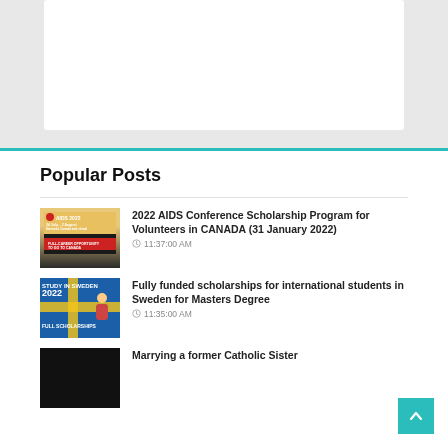[Figure (other): White advertisement box at the top of the page]
Popular Posts
2022 AIDS Conference Scholarship Program for Volunteers in CANADA (31 January 2022) — 11:37:00 AM
Fully funded scholarships for international students in Sweden for Masters Degree — 11:35:00 AM
Marrying a former Catholic Sister